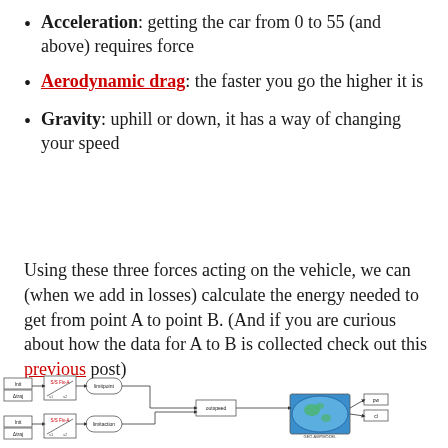Acceleration: getting the car from 0 to 55 (and above) requires force
Aerodynamic drag: the faster you go the higher it is
Gravity: uphill or down, it has a way of changing your speed
Using these three forces acting on the vehicle, we can (when we add in losses) calculate the energy needed to get from point A to point B. (And if you are curious about how the data for A to B is collected check out this previous post)
[Figure (schematic): A block diagram schematic showing vehicle energy model components including input blocks, lookup tables, function blocks labeled 'limitpoint' and 'limitaction', an 'outspeed' block, a globe/earth model, and output blocks labeled 'pw' and 'cl'.]